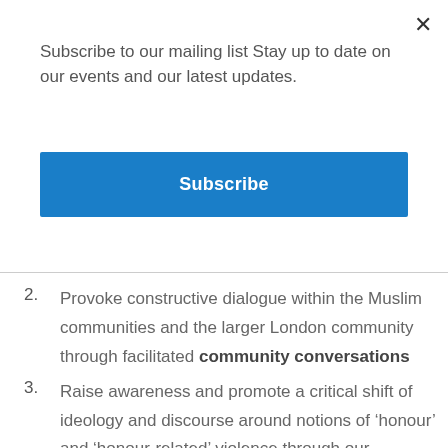Subscribe to our mailing list Stay up to date on our events and our latest updates.
Subscribe
2. Provoke constructive dialogue within the Muslim communities and the larger London community through facilitated community conversations
3. Raise awareness and promote a critical shift of ideology and discourse around notions of ‘honour’ and ‘honour-related’ violence through our campaigns
4. Collaborate with other